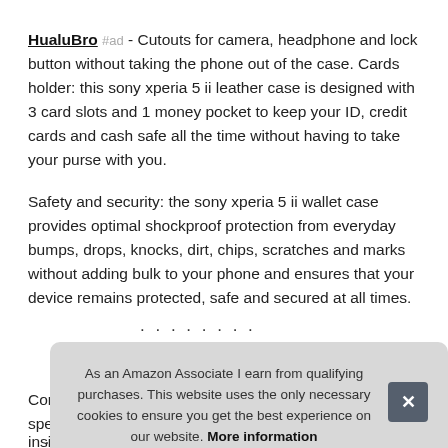HualuBro #ad - Cutouts for camera, headphone and lock button without taking the phone out of the case. Cards holder: this sony xperia 5 ii leather case is designed with 3 card slots and 1 money pocket to keep your ID, credit cards and cash safe all the time without having to take your purse with you.
Safety and security: the sony xperia 5 ii wallet case provides optimal shockproof protection from everyday bumps, drops, knocks, dirt, chips, scratches and marks without adding bulk to your phone and ensures that your device remains protected, safe and secured at all times.
Con spe only inside securely. Adjustable stand function will bring you more
As an Amazon Associate I earn from qualifying purchases. This website uses the only necessary cookies to ensure you get the best experience on our website. More information